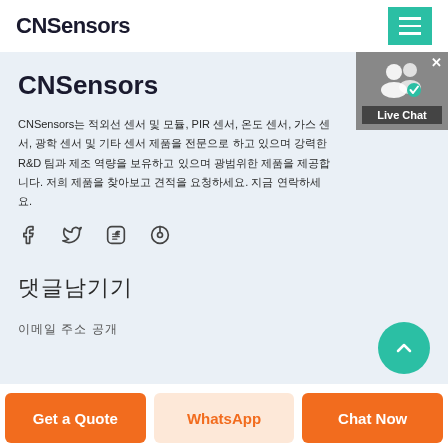CNSensors
CNSensors
CNSensors는 적외선 센서 및 모듈, PIR 센서, 온도 센서, 가스 센서, 광학 센서 및 기타 센서 제품을 전문으로 하고 있으며 강력한 R&D 팀과 제조 역량을 보유하고 있으며 광범위한 제품을 제공합니다. 저희 제품을 찾아보고 견적을 요청하세요. 지금 연락하세요.
[Figure (other): Social media icons: Facebook, Twitter, LinkedIn, Pinterest]
댓글남기기
이메일 주소 공개
[Figure (other): Live Chat widget with user icon and Live Chat label]